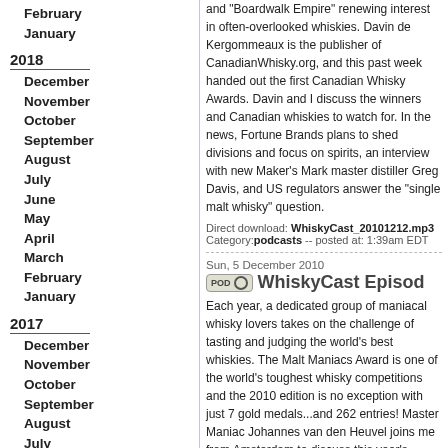February
January
2018
December
November
October
September
August
July
June
May
April
March
February
January
2017
December
November
October
September
August
July
June
May
April
March
February
January
2016
and "Boardwalk Empire" renewing interest in often-overlooked whiskies. Davin de Kergommeaux is the publisher of CanadianWhisky.org, and this past week handed out the first Canadian Whisky Awards. Davin and I discuss the winners and Canadian whiskies to watch for. In the news, Fortune Brands plans to shed divisions and focus on spirits, an interview with new Maker's Mark master distiller Greg Davis, and US regulators answer the "single malt whisky" question.
Direct download: WhiskyCast_20101212.mp3
Category: podcasts -- posted at: 1:39am EDT
Sun, 5 December 2010
WhiskyCast Episod...
Each year, a dedicated group of maniacal whisky lovers takes on the challenge of tasting and judging the world's best whiskies. The Malt Maniacs Award is one of the world's toughest whisky competitions and the 2010 edition is no exception with just 7 gold medals...and 262 entries! Master Maniac Johannes van den Heuvel joins me from Amsterdam to discuss this year's winners on this week's episode. In the news, winter weather...